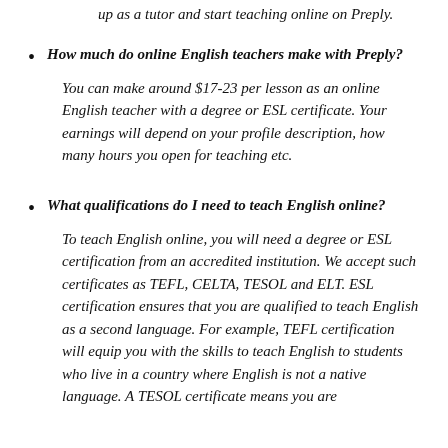up as a tutor and start teaching online on Preply.
How much do online English teachers make with Preply? You can make around $17-23 per lesson as an online English teacher with a degree or ESL certificate. Your earnings will depend on your profile description, how many hours you open for teaching etc.
What qualifications do I need to teach English online? To teach English online, you will need a degree or ESL certification from an accredited institution. We accept such certificates as TEFL, CELTA, TESOL and ELT. ESL certification ensures that you are qualified to teach English as a second language. For example, TEFL certification will equip you with the skills to teach English to students who live in a country where English is not a native language. A TESOL certificate means you are